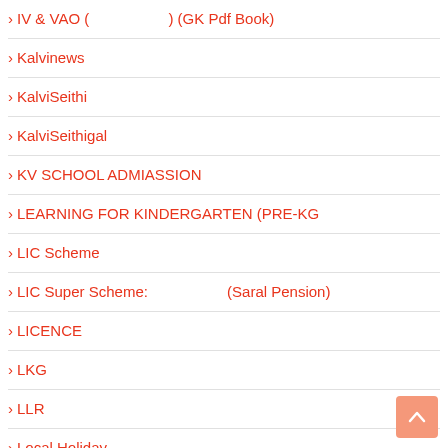IV & VAO (      ) (GK Pdf Book)
Kalvinews
KalviSeithi
KalviSeithigal
KV SCHOOL ADMIASSION
LEARNING FOR KINDERGARTEN (PRE-KG
LIC Scheme
LIC Super Scheme:                   (Saral Pension)
LICENCE
LKG
LLR
Local Holiday
Map Drawing Work Book & PTA Question Bank.